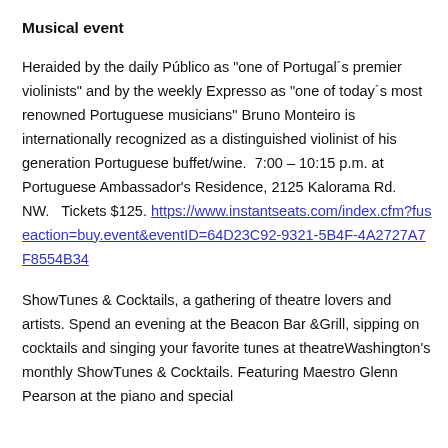Musical event
Heralded by the daily Público as “one of Portugal´s premier violinists” and by the weekly Expresso as “one of today´s most renowned Portuguese musicians” Bruno Monteiro is internationally recognized as a distinguished violinist of his generation Portuguese buffet/wine.  7:00 – 10:15 p.m. at Portuguese Ambassador’s Residence, 2125 Kalorama Rd. NW.   Tickets $125. https://www.instantseats.com/index.cfm?fuseaction=buy.event&eventID=64D23C92-9321-5B4F-4A2727A7F8554B34
ShowTunes & Cocktails, a gathering of theatre lovers and artists. Spend an evening at the Beacon Bar &Grill, sipping on cocktails and singing your favorite tunes at theatreWashington’s monthly ShowTunes & Cocktails. Featuring Maestro Glenn Pearson at the piano and special